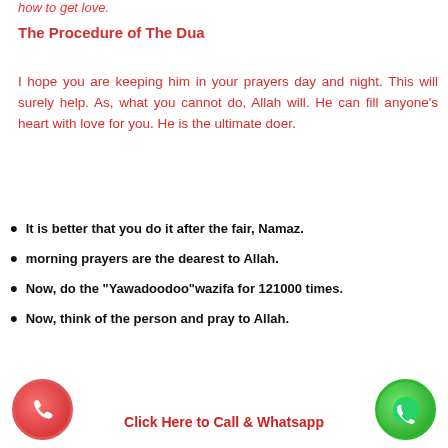how to get love.
The Procedure of The Dua
I hope you are keeping him in your prayers day and night. This will surely help. As, what you cannot do, Allah will. He can fill anyone’s heart with love for you. He is the ultimate doer.
It is better that you do it after the fair, Namaz.
morning prayers are the dearest to Allah.
Now, do the “Yawadoodoo”wazifa for 121000 times.
Now, think of the person and pray to Allah.
Click Here to Call & Whatsapp